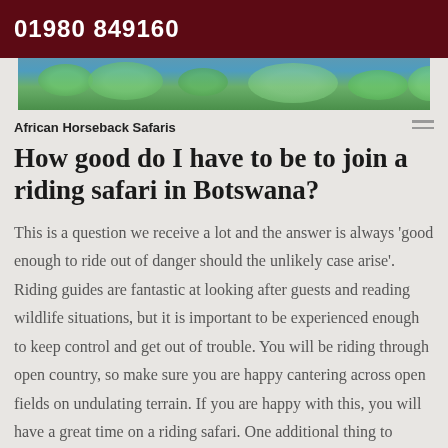01980 849160
[Figure (photo): Photo strip showing lily pads and water plants on a lake or pond]
African Horseback Safaris
How good do I have to be to join a riding safari in Botswana?
This is a question we receive a lot and the answer is always 'good enough to ride out of danger should the unlikely case arise'. Riding guides are fantastic at looking after guests and reading wildlife situations, but it is important to be experienced enough to keep control and get out of trouble. You will be riding through open country, so make sure you are happy cantering across open fields on undulating terrain. If you are happy with this, you will have a great time on a riding safari. One additional thing to remember is that you need to pack your riding hat for safety on your travel